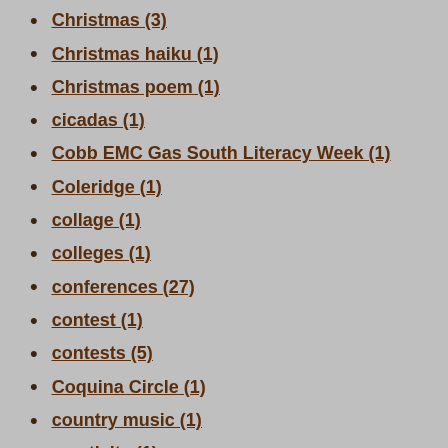Christmas (3)
Christmas haiku (1)
Christmas poem (1)
cicadas (1)
Cobb EMC Gas South Literacy Week (1)
Coleridge (1)
collage (1)
colleges (1)
conferences (27)
contest (1)
contests (5)
Coquina Circle (1)
country music (1)
creativity (1)
cuckoo poetry (1)
David G. Lanoue (13)